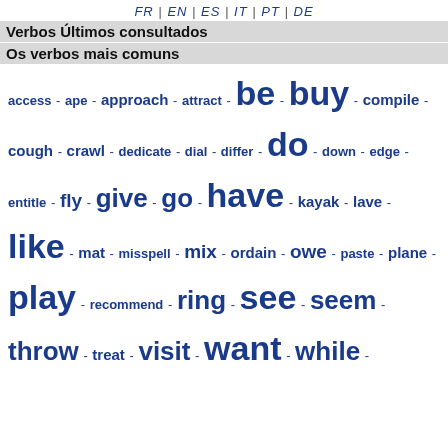FR | EN | ES | IT | PT | DE
Verbos Últimos consultados
Os verbos mais comuns
access - ape - approach - attract - be - buy - compile - cough - crawl - dedicate - dial - differ - do - down - edge - entitle - fly - give - go - have - kayak - lave - like - mat - misspell - mix - ordain - owe - paste - plane - play - recommend - ring - see - seem - throw - treat - visit - want - while -